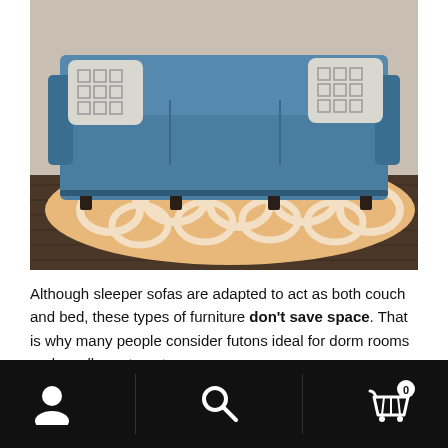[Figure (photo): Photo of a blue three-seater sofa with geometric patterned pillows, placed on a tan/orange geometric area rug over dark hardwood flooring.]
Although sleeper sofas are adapted to act as both couch and bed, these types of furniture don't save space. That is why many people consider futons ideal for dorm rooms and small apartments.
A... (partial text cut off at bottom)
Navigation bar with user icon, search icon, and cart icon (0 items)